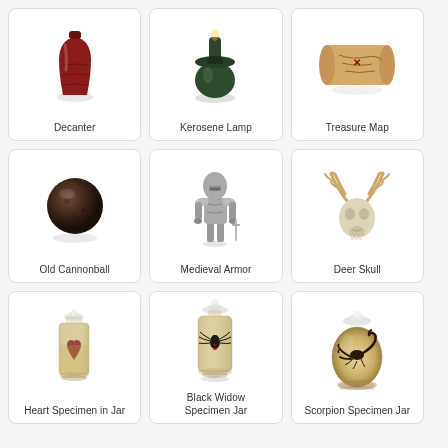[Figure (photo): Red/dark decanter bottle]
Decanter
[Figure (photo): Dark green kerosene lamp]
Kerosene Lamp
[Figure (photo): Rolled treasure map parchment]
Treasure Map
[Figure (photo): Dark brown old cannonball]
Old Cannonball
[Figure (photo): Silver medieval armor figurine]
Medieval Armor
[Figure (photo): Deer skull with antlers]
Deer Skull
[Figure (photo): Glass jar with heart specimen in yellow liquid]
Heart Specimen in Jar
[Figure (photo): Glass jar with black widow spider in yellow liquid]
Black Widow Specimen Jar
[Figure (photo): Round glass jar with scorpion specimen]
Scorpion Specimen Jar